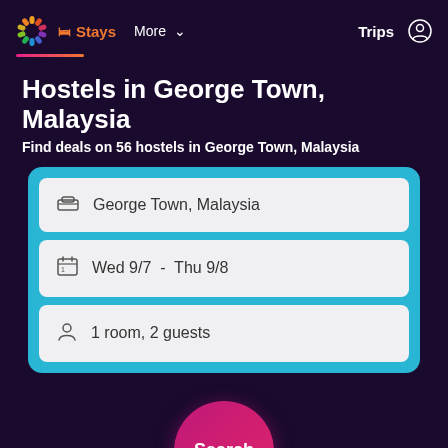Stays | More | Trips
Hostels in George Town, Malaysia
Find deals on 56 hostels in George Town, Malaysia
George Town, Malaysia
Wed 9/7 - Thu 9/8
1 room, 2 guests
Search